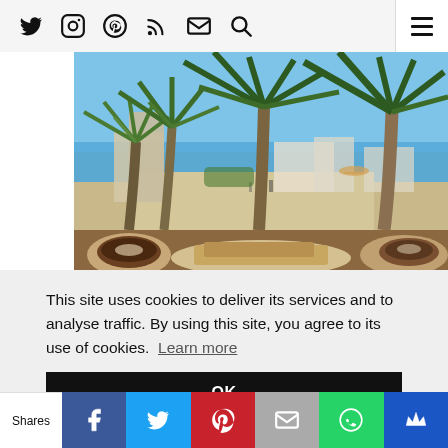Social icons navigation bar with twitter, instagram, pinterest, rss, email, search icons and hamburger menu
[Figure (photo): Beach promenade with tall palm trees, white buildings, blue sky, and sandy beach visible in the background]
[Figure (photo): Close-up strip of food/coffee on a table]
This site uses cookies to deliver its services and to analyse traffic. By using this site, you agree to its use of cookies. Learn more
OK
Shares | Facebook | Twitter | Pinterest | Email | WhatsApp | Other